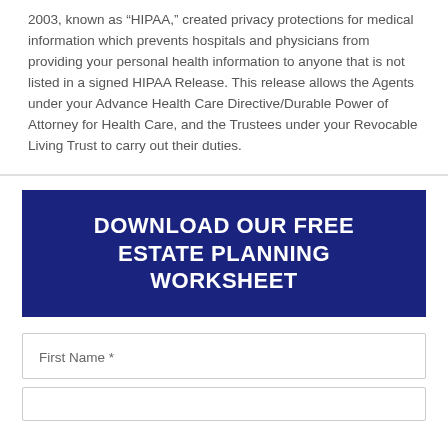2003, known as “HIPAA,” created privacy protections for medical information which prevents hospitals and physicians from providing your personal health information to anyone that is not listed in a signed HIPAA Release. This release allows the Agents under your Advance Health Care Directive/Durable Power of Attorney for Health Care, and the Trustees under your Revocable Living Trust to carry out their duties.
DOWNLOAD OUR FREE ESTATE PLANNING WORKSHEET
First Name *
Last Name *